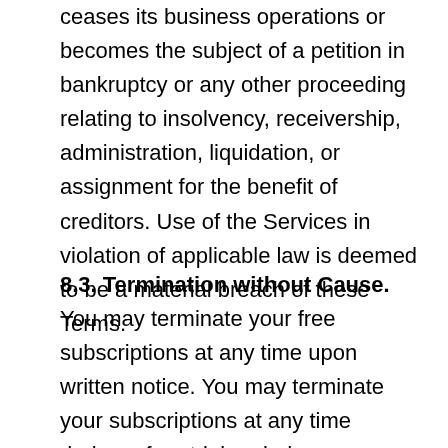ceases its business operations or becomes the subject of a petition in bankruptcy or any other proceeding relating to insolvency, receivership, administration, liquidation, or assignment for the benefit of creditors. Use of the Services in violation of applicable law is deemed to be a material breach of these Terms.
8.3. Termination without Cause. You may terminate your free subscriptions at any time upon written notice. You may terminate your subscriptions at any time during a free trial period upon written notice. Aerofiler may terminate your free